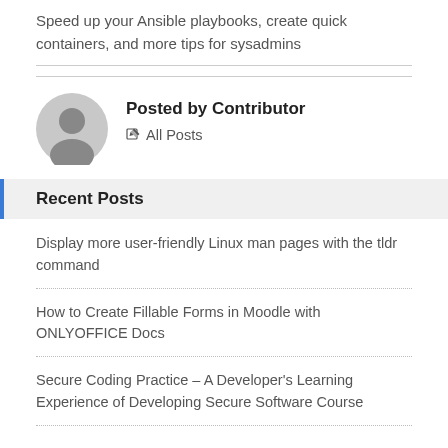Speed up your Ansible playbooks, create quick containers, and more tips for sysadmins
Posted by Contributor
All Posts
Recent Posts
Display more user-friendly Linux man pages with the tldr command
How to Create Fillable Forms in Moodle with ONLYOFFICE Docs
Secure Coding Practice – A Developer's Learning Experience of Developing Secure Software Course